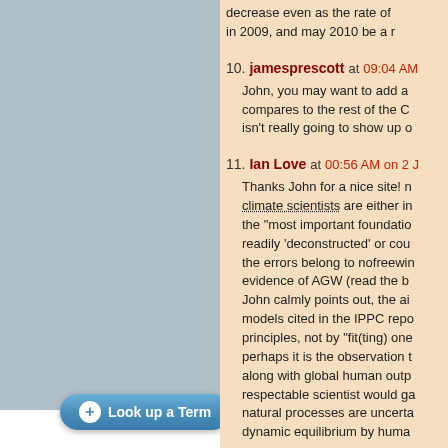decrease even as the rate of in 2009, and may 2010 be a r
10. jamesprescott at 09:04 AM
John, you may want to add a compares to the rest of the C isn't really going to show up o
11. Ian Love at 00:56 AM on 2 J
Thanks John for a nice site! climate scientists are either i the "most important foundatio readily 'deconstructed' or cou the errors belong to nofreewin evidence of AGW (read the b John calmly points out, the ai models cited in the IPPC repo principles, not by "fit(ting) one perhaps it is the observation t along with global human outp respectable scientist would g natural processes are uncerta dynamic equilibrium by huma
Look up a Term